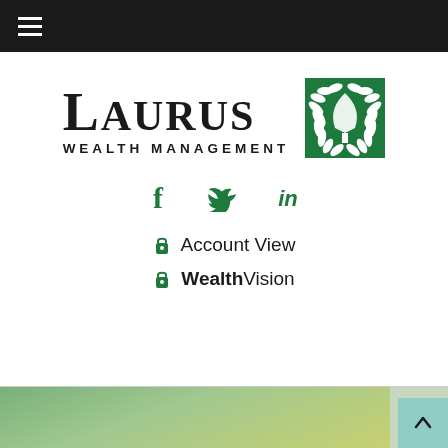Navigation bar with hamburger menu
[Figure (logo): Laurus Wealth Management logo with stylized text and green laurel wreath emblem]
[Figure (infographic): Social media icons: Facebook (f), Twitter (bird), LinkedIn (in) in dark green]
Account View
WealthVision
[Figure (photo): Partial photo strip at bottom showing greenery/nature image]